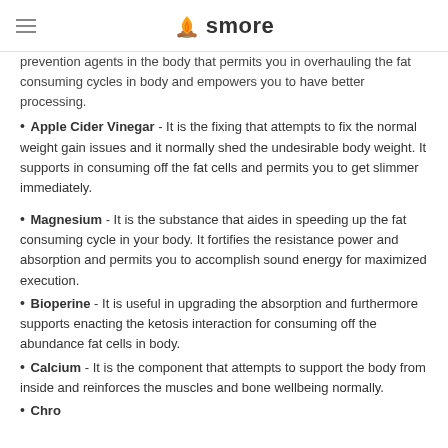smore
prevention agents in the body that permits you in overhauling the fat consuming cycles in body and empowers you to have better processing.
Apple Cider Vinegar - It is the fixing that attempts to fix the normal weight gain issues and it normally shed the undesirable body weight. It supports in consuming off the fat cells and permits you to get slimmer immediately.
Magnesium - It is the substance that aides in speeding up the fat consuming cycle in your body. It fortifies the resistance power and absorption and permits you to accomplish sound energy for maximized execution.
Bioperine - It is useful in upgrading the absorption and furthermore supports enacting the ketosis interaction for consuming off the abundance fat cells in body.
Calcium - It is the component that attempts to support the body from inside and reinforces the muscles and bone wellbeing normally.
Chro...